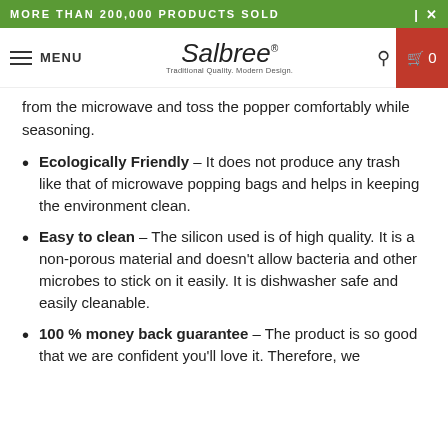MORE THAN 200,000 PRODUCTS SOLD
Salbree - Traditional Quality. Modern Design. MENU
from the microwave and toss the popper comfortably while seasoning.
Ecologically Friendly – It does not produce any trash like that of microwave popping bags and helps in keeping the environment clean.
Easy to clean – The silicon used is of high quality. It is a non-porous material and doesn't allow bacteria and other microbes to stick on it easily. It is dishwasher safe and easily cleanable.
100 % money back guarantee – The product is so good that we are confident you'll love it. Therefore, we